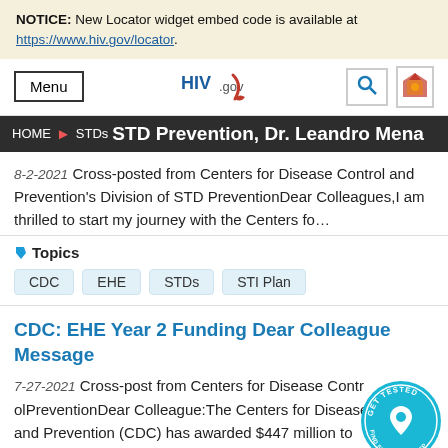NOTICE: New Locator widget embed code is available at https://www.hiv.gov/locator.
Menu | HIV.gov | [search icon] | [logo icon]
HOME > STDs > STD Prevention, Dr. Leandro Mena
8-2-2021 Cross-posted from Centers for Disease Control and Prevention's Division of STD PreventionDear Colleagues,I am thrilled to start my journey with the Centers fo…
Topics: CDC  EHE  STDs  STI Plan
CDC: EHE Year 2 Funding Dear Colleague Message
7-27-2021 Cross-post from Centers for Disease ControlPreventionDear Colleague:The Centers for Disease Control and Prevention (CDC) has awarded $447 million to more than
[Figure (logo): Get Tested / Find Services + PrEP circular badge]